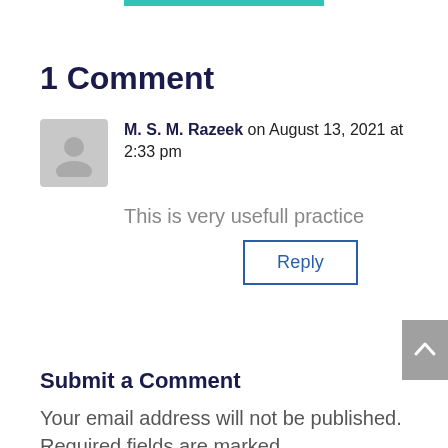1 Comment
M. S. M. Razeek on August 13, 2021 at 2:33 pm
This is very usefull practice
Submit a Comment
Your email address will not be published. Required fields are marked